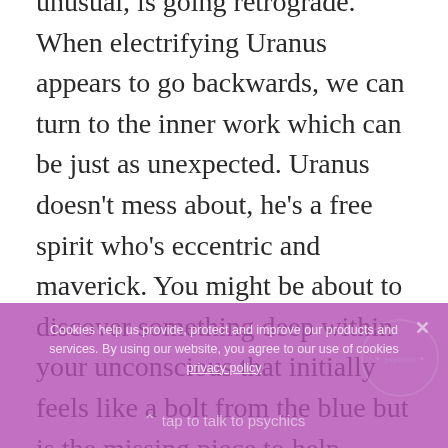unusual, is going retrograde. When electrifying Uranus appears to go backwards, we can turn to the inner work which can be just as unexpected. Uranus doesn't mess about, he's a free spirit who's eccentric and maverick. You might be about to discover something deep within your unconscious that initially feels like a bolt from the blue but is the missing piece to help further free you. You might feel like rebelling and pushing yourself into a brand new world, liberating as this might be, do look before you leap. You're like baby of the zodiac who needs
Cookies help us provide, protect and improve our products and services. By using our website, you agree to our use of cookies privacy policy
tap to talk to psychics